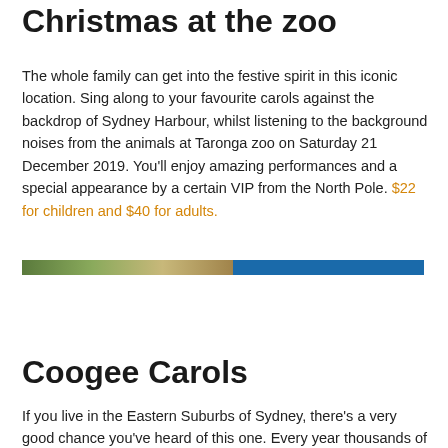Christmas at the zoo
The whole family can get into the festive spirit in this iconic location. Sing along to your favourite carols against the backdrop of Sydney Harbour, whilst listening to the background noises from the animals at Taronga zoo on Saturday 21 December 2019. You'll enjoy amazing performances and a special appearance by a certain VIP from the North Pole. $22 for children and $40 for adults.
[Figure (photo): Partial image strip showing outdoor scene on left and blue background on right]
Coogee Carols
If you live in the Eastern Suburbs of Sydney, there's a very good chance you've heard of this one. Every year thousands of families set themselves on the grounds by Coogee beach